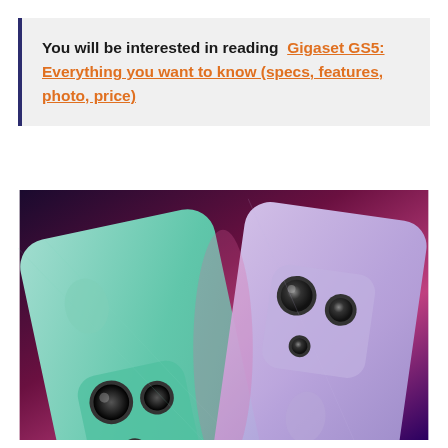You will be interested in reading  Gigaset GS5: Everything you want to know (specs, features, photo, price)
[Figure (photo): Two smartphones shown from the back — one teal/mint green and one silver/purple — both displaying triple camera modules, set against a dark purple/pink gradient background.]